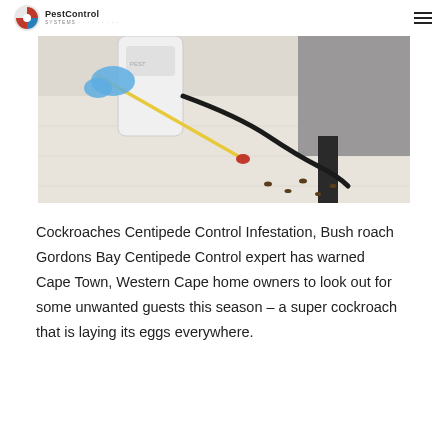PestControl
[Figure (photo): A person wearing blue gloves using a yellow wand pest control sprayer near the base of furniture on a light floor, with insects visible on the floor.]
Cockroaches Centipede Control Infestation, Bush roach Gordons Bay Centipede Control expert has warned Cape Town, Western Cape home owners to look out for some unwanted guests this season – a super cockroach that is laying its eggs everywhere.